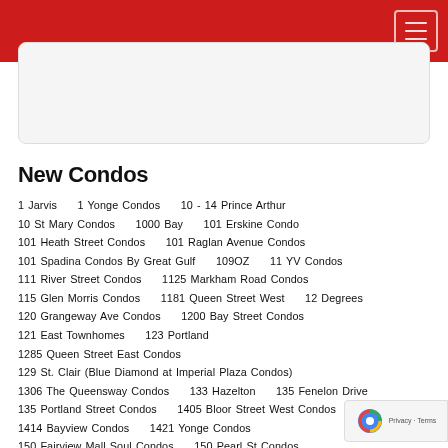New Condos
1 Jarvis    1 Yonge Condos    10 - 14 Prince Arthur
10 St Mary Condos    1000 Bay    101 Erskine Condo
101 Heath Street Condos    101 Raglan Avenue Condos
101 Spadina Condos By Great Gulf    109OZ    11 YV Condos
111 River Street Condos    1125 Markham Road Condos
115 Glen Morris Condos    1181 Queen Street West    12 Degrees
120 Grangeway Ave Condos    1200 Bay Street Condos
121 East Townhomes    123 Portland
1285 Queen Street East Condos
129 St. Clair (Blue Diamond at Imperial Plaza Condos)
1306 The Queensway Condos    133 Hazelton    135 Fenelon Drive
135 Portland Street Condos    1405 Bloor Street West Condos
1414 Bayview Condos    1421 Yonge Condos
150 Fairview Mall Soul Condos    150 Pearl St Condos
150 Redpath Condos    153 Wilson West Condos    154 Front St
155 Balliol Street Condos    155 Redpath Condos